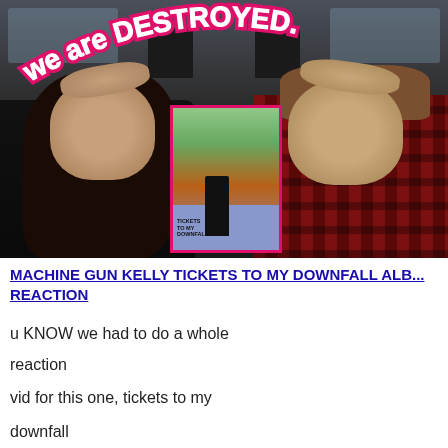[Figure (photo): Two people sitting in a vehicle with hands on their heads looking overwhelmed, with a Machine Gun Kelly 'Tickets to My Downfall' album cover overlaid in center with pink border. Text 'we are DESTROYED.' arcs across the top in white bubble letters with pink outline.]
MACHINE GUN KELLY TICKETS TO MY DOWNFALL ALB... REACTION
u KNOW we had to do a whole reaction vid for this one, tickets to my downfall